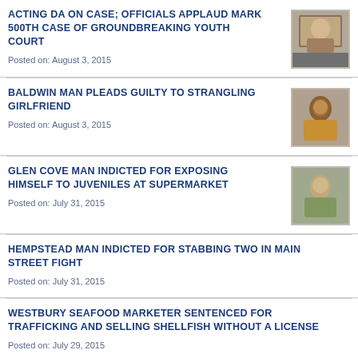ACTING DA ON CASE; OFFICIALS APPLAUD MARK 500TH CASE OF GROUNDBREAKING YOUTH COURT
Posted on: August 3, 2015
BALDWIN MAN PLEADS GUILTY TO STRANGLING GIRLFRIEND
Posted on: August 3, 2015
GLEN COVE MAN INDICTED FOR EXPOSING HIMSELF TO JUVENILES AT SUPERMARKET
Posted on: July 31, 2015
HEMPSTEAD MAN INDICTED FOR STABBING TWO IN MAIN STREET FIGHT
Posted on: July 31, 2015
WESTBURY SEAFOOD MARKETER SENTENCED FOR TRAFFICKING AND SELLING SHELLFISH WITHOUT A LICENSE
Posted on: July 29, 2015